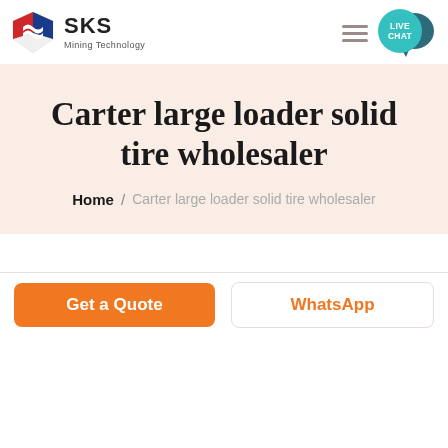[Figure (logo): SKS Mining Technology logo with red/blue shield icon and company name]
[Figure (illustration): Hamburger menu icon (three horizontal lines) and teal live chat bubble with LIVE CHAT text]
Carter large loader solid tire wholesaler
Home / Carter large loader solid tire wholesaler
Get a Quote
WhatsApp